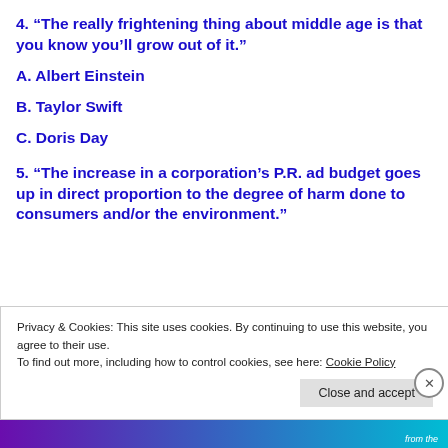4. “The really frightening thing about middle age is that you know you’ll grow out of it.”
A. Albert Einstein
B. Taylor Swift
C. Doris Day
5. “The increase in a corporation’s P.R. ad budget goes up in direct proportion to the degree of harm done to consumers and/or the environment.”
Privacy & Cookies: This site uses cookies. By continuing to use this website, you agree to their use.
To find out more, including how to control cookies, see here: Cookie Policy